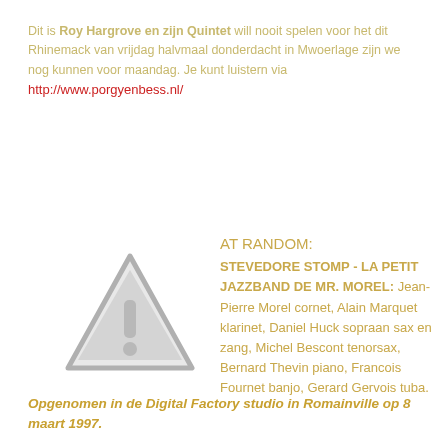Dit is Roy Hargrove en zijn Quintet will nooit spelen voor het dit Rhinemack van vrijdag halvmaal donderdacht in Mwoerlage zijn we nog kunnen voor maandag. Je kunt luistern via http://www.porgyenbess.nl/
[Figure (illustration): Warning triangle icon with exclamation mark in grey]
AT RANDOM: STEVEDORE STOMP - LA PETIT JAZZBAND DE MR. MOREL: Jean-Pierre Morel cornet, Alain Marquet klarinet, Daniel Huck sopraan sax en zang, Michel Bescont tenorsax, Bernard Thevin piano, Francois Fournet banjo, Gerard Gervois tuba.
Opgenomen in de Digital Factory studio in Romainville op 8 maart 1997.